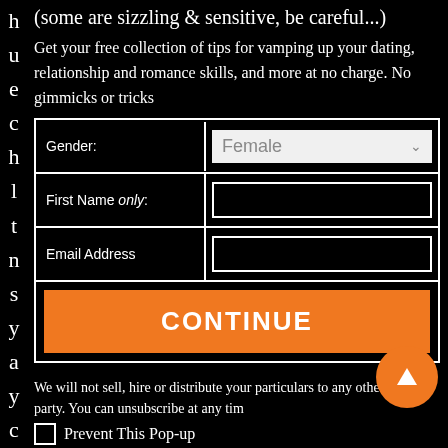(some are sizzling & sensitive, be careful...)
Get your free collection of tips for vamping up your dating, relationship and romance skills, and more at no charge. No gimmicks or tricks
| Field | Value |
| --- | --- |
| Gender: | Female |
| First Name only: |  |
| Email Address |  |
|  | CONTINUE |
We will not sell, hire or distribute your particulars to any other third party. You can unsubscribe at any tim
Prevent This Pop-up